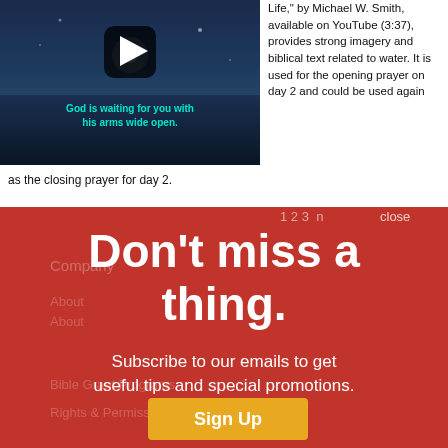[Figure (screenshot): YouTube video thumbnail showing a night sky/water scene with text 'God is waiting for you with his arms wide open.' and a play button icon.]
Life," by Michael W. Smith, available on YouTube (3:37), provides strong imagery and biblical text related to water. It is used for the opening prayer on day 2 and could be used again as the closing prayer for day 2.
[Figure (screenshot): Newsletter subscription overlay on a red background with text: 'Don't miss a thing. Subscribe to our emails to get useful tips and special promotions.' with a Sign Up button. Behind the overlay are faint website navigation links: Company, About, Bible Grant Programs, Rights & Permissions.]